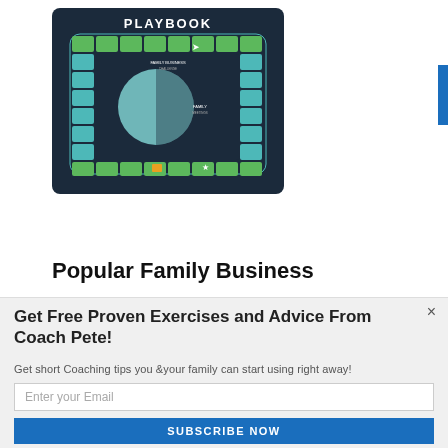[Figure (illustration): A board game style infographic titled 'PLAYBOOK' with a dark navy background, teal and green bordered squares arranged in a loop around a central circle, representing a family business playbook game board.]
Popular Family Business
Get Free Proven Exercises and Advice From Coach Pete!
Get short Coaching tips you &your family can start using right away!
Enter your Email
SUBSCRIBE NOW